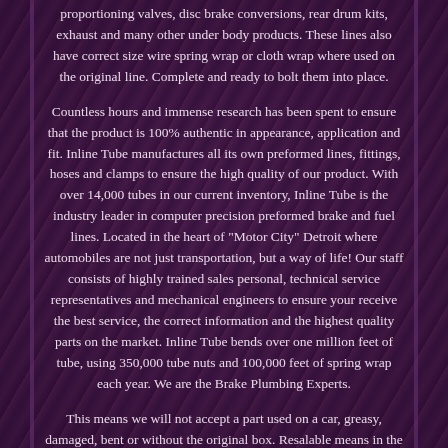proportioning valves, disc brake conversions, rear drum kits, exhaust and many other under body products. These lines also have correct size wire spring wrap or cloth wrap where used on the original line. Complete and ready to bolt them into place.
Countless hours and immense research has been spent to ensure that the product is 100% authentic in appearance, application and fit. Inline Tube manufactures all its own preformed lines, fittings, hoses and clamps to ensure the high quality of our product. With over 14,000 tubes in our current inventory, Inline Tube is the industry leader in computer precision preformed brake and fuel lines. Located in the heart of "Motor City" Detroit where automobiles are not just transportation, but a way of life! Our staff consists of highly trained sales personal, technical service representatives and mechanical engineers to ensure your receive the best service, the correct information and the highest quality parts on the market. Inline Tube bends over one million feet of tube, using 350,000 tube nuts and 100,000 feet of spring wrap each year. We are the Brake Plumbing Experts.
This means we will not accept a part used on a car, greasy, damaged, bent or without the original box. Resalable means in the same condition as you received it in. Please include pictures of the damaged product AND package in